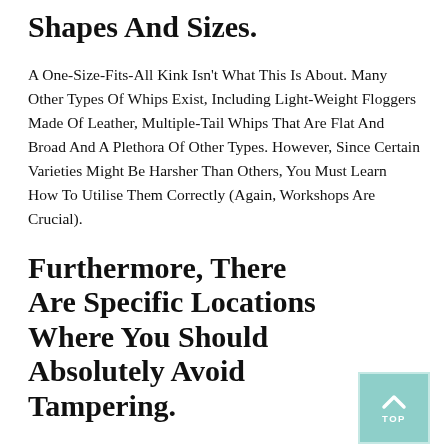Shapes And Sizes.
A One-Size-Fits-All Kink Isn't What This Is About. Many Other Types Of Whips Exist, Including Light-Weight Floggers Made Of Leather, Multiple-Tail Whips That Are Flat And Broad And A Plethora Of Other Types. However, Since Certain Varieties Might Be Harsher Than Others, You Must Learn How To Utilise Them Correctly (Again, Workshops Are Crucial).
Furthermore, There Are Specific Locations Where You Should Absolutely Avoid Tampering.